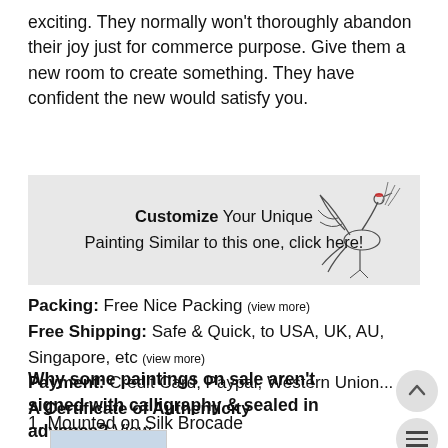exciting. They normally won't thoroughly abandon their joy just for commerce purpose. Give them a new room to create something. They have confident the new would satisfy you.
[Figure (infographic): Grey banner with text 'Customize Your Unique Painting Similar to this one, click here!' and a decorative bird illustration on the right.]
Packing: Free Nice Packing (view more)
Free Shipping: Safe & Quick, to USA, UK, AU, Singapore, etc (view more)
Payment: Credit Card, Paypal, Western Union...
A Certificate of Authenticity
Why some paintings on sale aren't signed with calligraphy & sealed in advance? View...
How to hang a chinese painting?(more..)
1. Mounted on Silk Brocade
[Figure (photo): A small thumbnail image of a Chinese landscape painting featuring colorful mountains.]